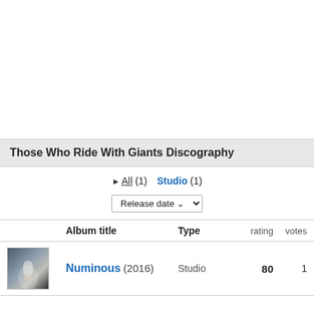Those Who Ride With Giants Discography
▶ All (1)   Studio (1)
Release date ∨
|  | Album title | Type | rating | votes |
| --- | --- | --- | --- | --- |
| [image] | Numinous (2016) | Studio | 80 | 1 |